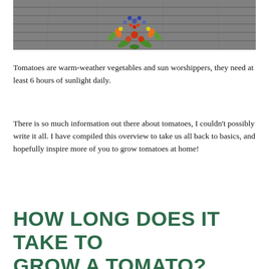[Figure (photo): Vegetables and fruits arranged in a heart shape on a wooden background, viewed from above.]
Tomatoes are warm-weather vegetables and sun worshippers, they need at least 6 hours of sunlight daily.
There is so much information out there about tomatoes, I couldn't possibly write it all. I have compiled this overview to take us all back to basics, and hopefully inspire more of you to grow tomatoes at home!
HOW LONG DOES IT TAKE TO GROW A TOMATO?